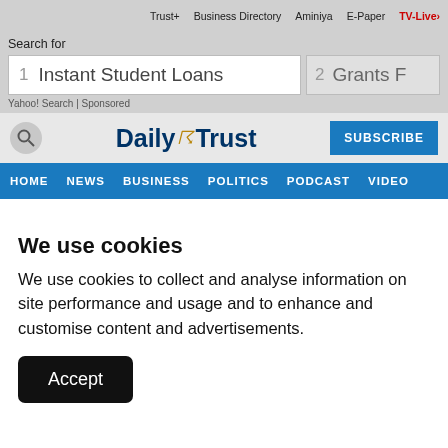Trust+  Business Directory  Aminiya  E-Paper  TV-Live
Search for
1  Instant Student Loans    2  Grants F…
Yahoo! Search | Sponsored
[Figure (logo): Daily Trust newspaper logo with globe icon]
HOME  NEWS  BUSINESS  POLITICS  PODCAST  VIDEO
We use cookies
We use cookies to collect and analyse information on site performance and usage and to enhance and customise content and advertisements.
Accept